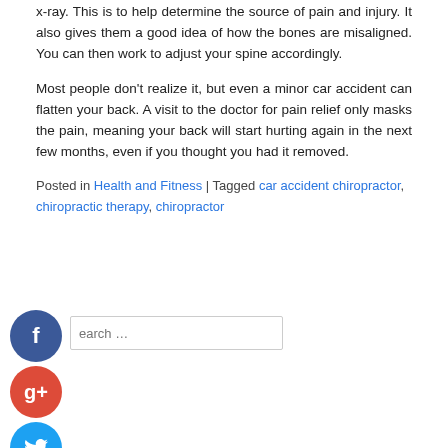x-ray. This is to help determine the source of pain and injury. It also gives them a good idea of how the bones are misaligned. You can then work to adjust your spine accordingly.
Most people don't realize it, but even a minor car accident can flatten your back. A visit to the doctor for pain relief only masks the pain, meaning your back will start hurting again in the next few months, even if you thought you had it removed.
Posted in Health and Fitness | Tagged car accident chiropractor, chiropractic therapy, chiropractor
[Figure (infographic): Social media share icons: Facebook (blue circle with f), Google+ (red circle with g+), Twitter (blue circle with bird), and a dark circle with plus sign. A search box is also visible.]
Categories
Business and Management
Default
Education
Health and Fitness